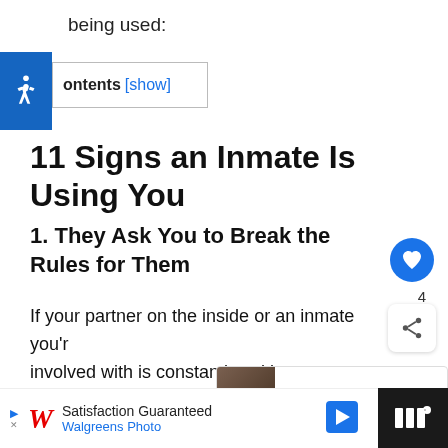being used:
[Figure (logo): Blue accessibility icon with wheelchair symbol]
Contents [show]
11 Signs an Inmate Is Using You
1. They Ask You to Break the Rules for Them
If your partner on the inside or an inmate you're involved with is constantly asking you to break the rules for them, they are using you
[Figure (screenshot): What's Next panel: 11 Signs an Inmate Reall...]
[Figure (screenshot): Advertisement: Walgreens Photo - Satisfaction Guaranteed]